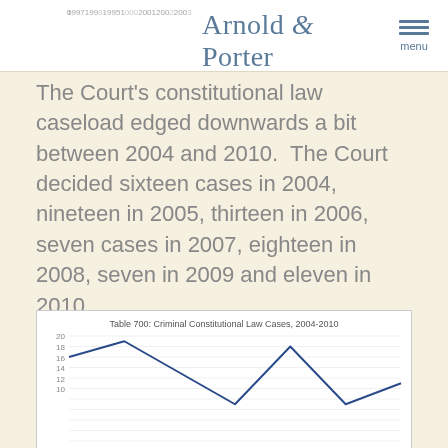Arnold & Porter — menu
The Court's constitutional law caseload edged downwards a bit between 2004 and 2010.  The Court decided sixteen cases in 2004, nineteen in 2005, thirteen in 2006, seven cases in 2007, eighteen in 2008, seven in 2009 and eleven in 2010.
[Figure (line-chart): Table 700: Criminal Constitutional Law Cases, 2004-2010]